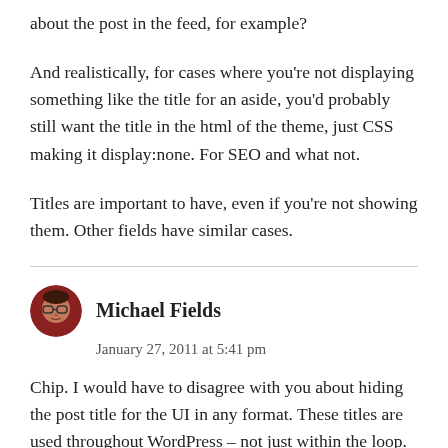about the post in the feed, for example?
And realistically, for cases where you're not displaying something like the title for an aside, you'd probably still want the title in the html of the theme, just CSS making it display:none. For SEO and what not.
Titles are important to have, even if you're not showing them. Other fields have similar cases.
Michael Fields
January 27, 2011 at 5:41 pm
Chip. I would have to disagree with you about hiding the post title for the UI in any format. These titles are used throughout WordPress – not just within the loop. Take for example the Recent